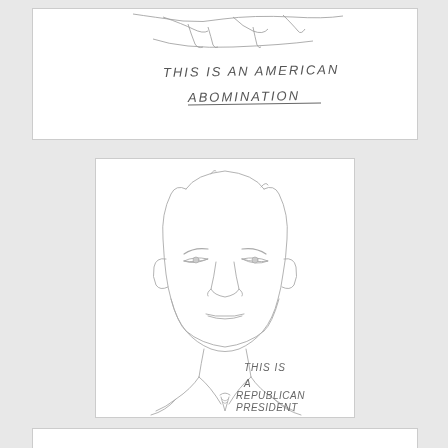[Figure (illustration): Pencil sketch of what appears to be hands or a figure, with handwritten text reading 'THIS IS AN AMERICAN ABOMINATION']
[Figure (illustration): Pencil sketch portrait of a man's face and upper body wearing a suit and tie, with handwritten text reading 'THIS IS A REPUBLICAN PRESIDENT']
[Figure (illustration): Partial pencil sketch at the bottom of the page, cut off]